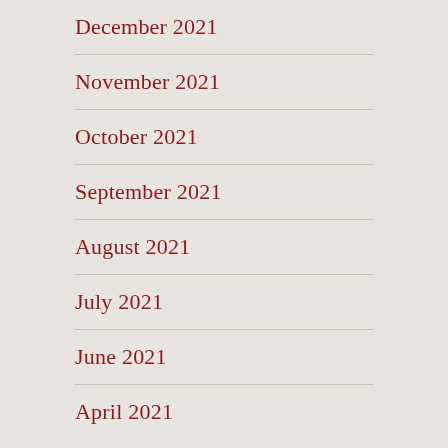December 2021
November 2021
October 2021
September 2021
August 2021
July 2021
June 2021
April 2021